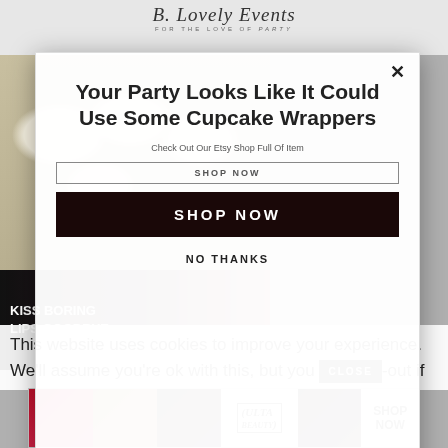[Figure (screenshot): B.Lovely Events website header with script logo and tagline 'FOR THE LOVE OF Party', menu bar, and search bar]
[Figure (screenshot): Background showing cupcakes with pineapple wrappers and a lip cosmetics advertisement strip reading 'KISS BORING LIPS GOODBYE']
[Figure (infographic): Modal popup overlay on website with title 'Your Party Looks Like It Could Use Some Cupcake Wrappers', shop now buttons, and no thanks link]
Your Party Looks Like It Could Use Some Cupcake Wrappers
Check Out Our Etsy Shop Full Of Item
SHOP NOW
SHOP NOW
NO THANKS
This website uses cookies to improve your experience. We'll assume you're ok with this, but you can opt-out if
CLOSE
[Figure (screenshot): Bottom advertisement strip for ULTA beauty with multiple makeup imagery panels and SHOP NOW call to action]